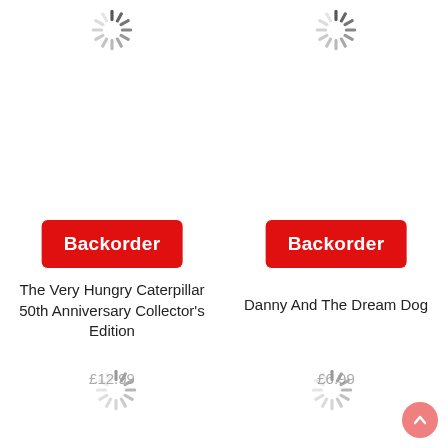[Figure (other): Loading spinner top-left]
[Figure (other): Loading spinner top-right]
[Figure (other): Backorder button left overlaying book]
The Very Hungry Caterpillar 50th Anniversary Collector's Edition
£12.99
[Figure (other): Backorder button right overlaying book]
Danny And The Dream Dog
£6.99
[Figure (other): Loading spinner bottom-left]
[Figure (other): Loading spinner bottom-right]